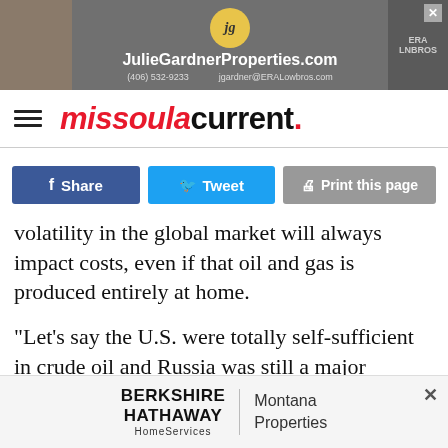[Figure (other): Advertisement banner for JulieGardnerProperties.com with photo, logo circle, URL, phone number and email]
missoula current.
Share   Tweet   Print this page
volatility in the global market will always impact costs, even if that oil and gas is produced entirely at home.
"Let's say the U.S. were totally self-sufficient in crude oil and Russia was still a major supplier in the market and prices were going up because of the war in Ukraine," said Robert Kauffman, professor in the Earth and Environment
[Figure (other): Advertisement banner for Berkshire Hathaway HomeServices Montana Properties]